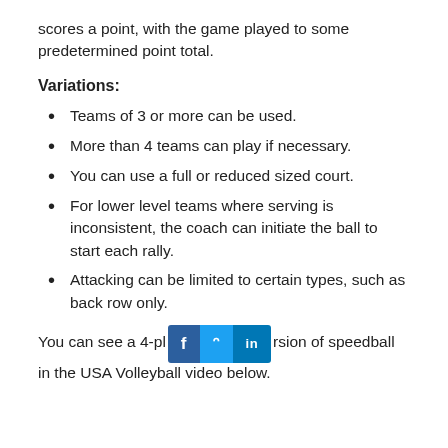scores a point, with the game played to some predetermined point total.
Variations:
Teams of 3 or more can be used.
More than 4 teams can play if necessary.
You can use a full or reduced sized court.
For lower level teams where serving is inconsistent, the coach can initiate the ball to start each rally.
Attacking can be limited to certain types, such as back row only.
You can see a 4-player version of speedball in the USA Volleyball video below.